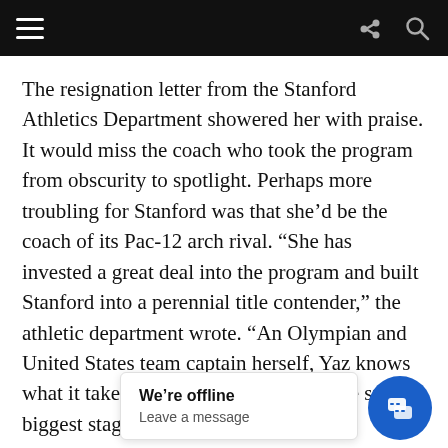Navigation bar with hamburger menu, share icon, and search icon
The resignation letter from the Stanford Athletics Department showered her with praise. It would miss the coach who took the program from obscurity to spotlight. Perhaps more troubling for Stanford was that she’d be the coach of its Pac-12 arch rival. “She has invested a great deal into the program and built Stanford into a perennial title contender,” the athletic department wrote. “An Olympian and United States team captain herself, Yaz knows what it takes to compete and lead on the sport’s biggest stage.”
In her first year at University of Washington, Yaz would have the daunting ta... performance of long... Er...